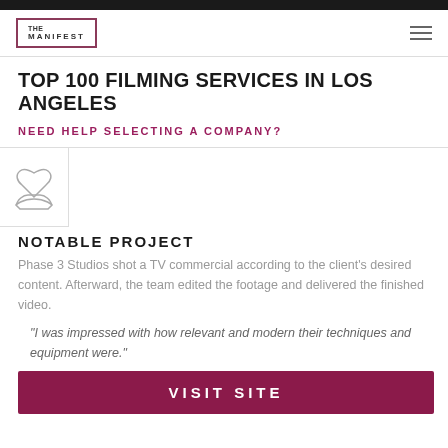THE MANIFEST
TOP 100 FILMING SERVICES IN LOS ANGELES
NEED HELP SELECTING A COMPANY?
[Figure (logo): Heart/hands cupped logo icon in light gray outline style]
NOTABLE PROJECT
Phase 3 Studios shot a TV commercial according to the client's desired content. Afterward, the team edited the footage and delivered the finished video.
"I was impressed with how relevant and modern their techniques and equipment were."
VISIT SITE